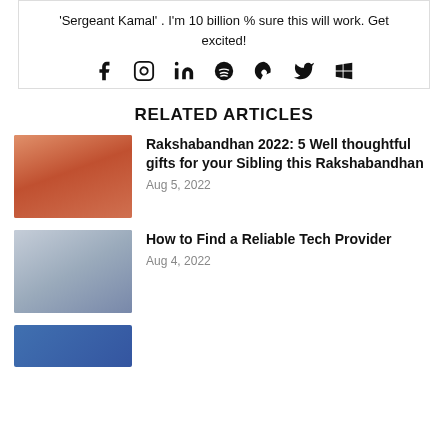'Sergeant Kamal' . I'm 10 billion % sure this will work. Get excited!
[Figure (other): Social media icons: Facebook, Instagram, LinkedIn, Spotify, Steam, Twitter, Windows]
RELATED ARTICLES
[Figure (photo): Photo of Rakshabandhan rakhi on a wrist]
Rakshabandhan 2022: 5 Well thoughtful gifts for your Sibling this Rakshabandhan
Aug 5, 2022
[Figure (photo): Photo of a laptop with charts on screen]
How to Find a Reliable Tech Provider
Aug 4, 2022
[Figure (photo): Partially visible article image at bottom]